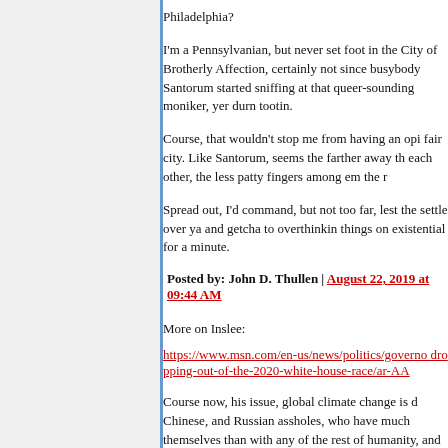Philadelphia?
I'm a Pennsylvanian, but never set foot in the City of Brotherly Affection, certainly not since busybody Santorum started sniffing at that queer-sounding moniker, yer durn tootin.
Course, that wouldn't stop me from having an opinion about that fair city. Like Santorum, seems the farther away the people are from each other, the less patty fingers among em the r
Spread out, I'd command, but not too far, lest the anomie should settle over ya and getcha to overthinkin things on an overly existential for a minute.
Posted by: John D. Thullen | August 22, 2019 at 09:44 AM
More on Inslee:
https://www.msn.com/en-us/news/politics/governor-inslee-is-dropping-out-of-the-2020-white-house-race/ar-AA
Course now, his issue, global climate change is d Chinese, and Russian assholes, who have much themselves than with any of the rest of humanity, and within grasp, and are monetizing melting glac